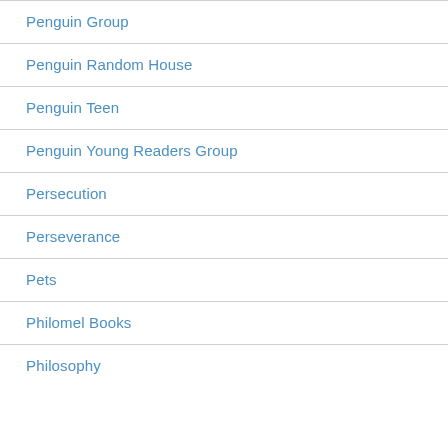Penguin Group
Penguin Random House
Penguin Teen
Penguin Young Readers Group
Persecution
Perseverance
Pets
Philomel Books
Philosophy